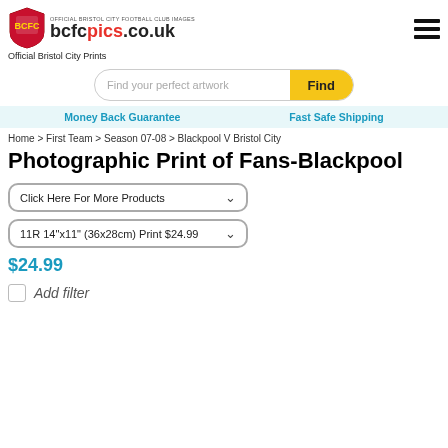[Figure (logo): Bristol City FC crest logo and bcfcpics.co.uk branding]
Official Bristol City Prints
[Figure (screenshot): Search bar with 'Find your perfect artwork' placeholder and yellow 'Find' button]
Money Back Guarantee    Fast Safe Shipping
Home > First Team > Season 07-08 > Blackpool V Bristol City
Photographic Print of Fans-Blackpool
Click Here For More Products
11R 14"x11" (36x28cm) Print $24.99
$24.99
Add filter